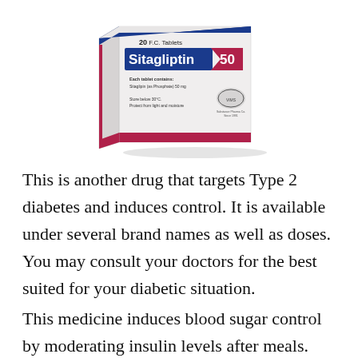[Figure (photo): Photo of a medicine box labeled 'Sitagliptin 50', 20 F.C. Tablets. The box shows 'Each tablet contains: Sitaglipin (as Phosphate) 50 mg', 'Store below 30°C, Protect from light and moisture'. The box is white with blue and maroon/red accent stripes and a logo.]
This is another drug that targets Type 2 diabetes and induces control. It is available under several brand names as well as doses. You may consult your doctors for the best suited for your diabetic situation.
This medicine induces blood sugar control by moderating insulin levels after meals.